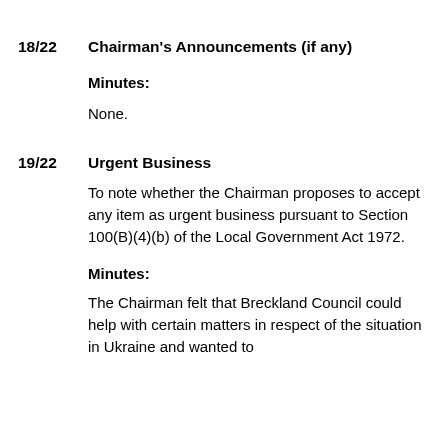18/22  Chairman's Announcements (if any)
Minutes:
None.
19/22  Urgent Business
To note whether the Chairman proposes to accept any item as urgent business pursuant to Section 100(B)(4)(b) of the Local Government Act 1972.
Minutes:
The Chairman felt that Breckland Council could help with certain matters in respect of the situation in Ukraine and wanted to